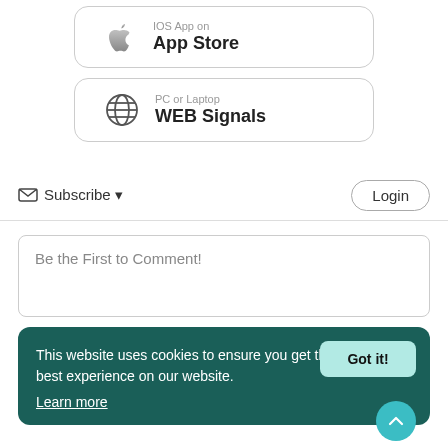[Figure (logo): iOS App on App Store button with Apple logo]
[Figure (logo): PC or Laptop WEB Signals button with globe icon]
Subscribe ▼
Login
Be the First to Comment!
This website uses cookies to ensure you get the best experience on our website. Learn more
Got it!